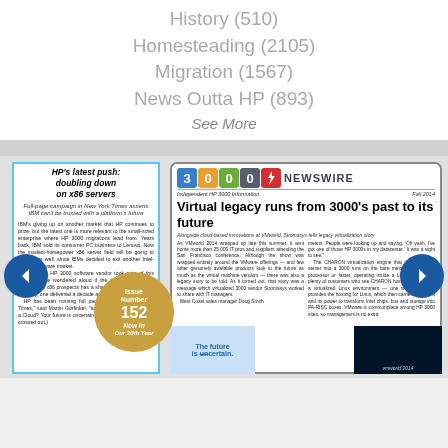History (510)
Homesteading (2105)
Migration (1567)
News Outta HP (893)
See More
[Figure (screenshot): HP 3000 NewsWire magazine cover page showing logo with colored number boxes (3000) and lightning bolt, headline 'Virtual legacy runs from 3000's past to its future', issue number 152 gold circle, and article snippet about HP x86 servers. Fall 2014 issue.]
HP's latest push: doubling down on x86 servers
Virtual legacy runs from 3000's past to its future